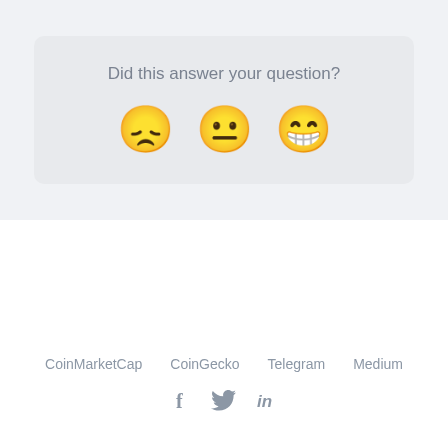[Figure (infographic): Feedback card with light gray background asking 'Did this answer your question?' with three emoji reaction buttons: disappointed face, neutral face, and grinning face with big eyes.]
CoinMarketCap   CoinGecko   Telegram   Medium
f  [twitter bird]  in